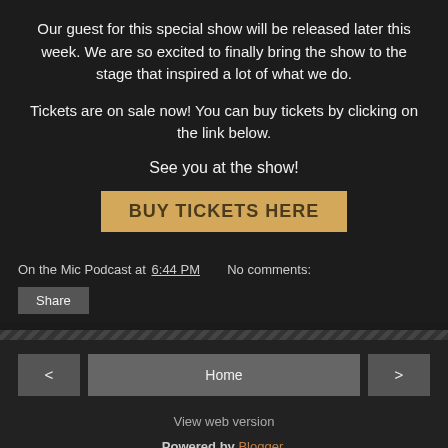Our guest for this special show will be released later this week. We are so excited to finally bring the show to the stage that inspired a lot of what we do.
Tickets are on sale now! You can buy tickets by clicking on the link below.
See you at the show!
BUY TICKETS HERE
On the Mic Podcast at 6:44 PM   No comments:
Share
< Home >
View web version
Powered by Blogger.